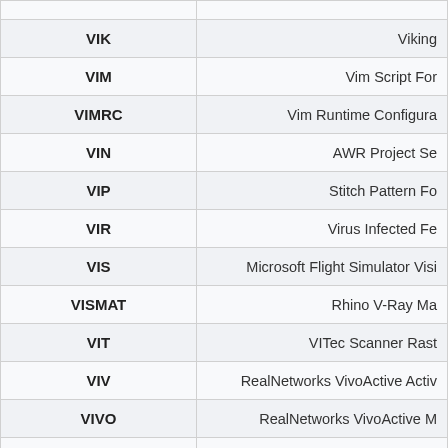| Extension | Description |
| --- | --- |
| VIK | Viking |
| VIM | Vim Script For |
| VIMRC | Vim Runtime Configura |
| VIN | AWR Project Se |
| VIP | Stitch Pattern Fo |
| VIR | Virus Infected Fe |
| VIS | Microsoft Flight Simulator Visi |
| VISMAT | Rhino V-Ray Ma |
| VIT | VITec Scanner Rast |
| VIV | RealNetworks VivoActive Activ |
| VIVO | RealNetworks VivoActive M |
| VIW | Microsoft SQL Server |